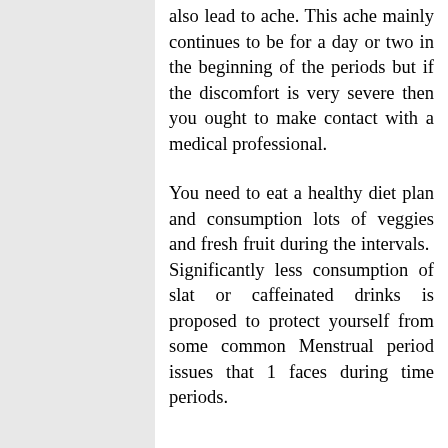also lead to ache. This ache mainly continues to be for a day or two in the beginning of the periods but if the discomfort is very severe then you ought to make contact with a medical professional.
You need to eat a healthy diet plan and consumption lots of veggies and fresh fruit during the intervals. Significantly less consumption of slat or caffeinated drinks is proposed to protect yourself from some common Menstrual period issues that 1 faces during time periods.